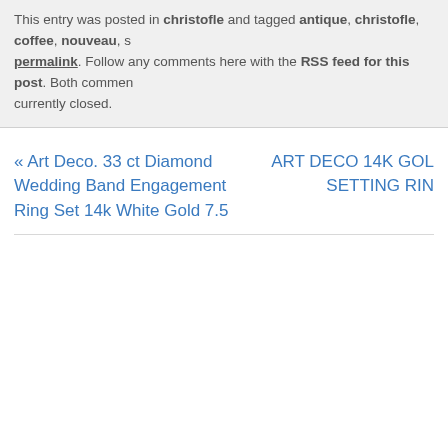This entry was posted in christofle and tagged antique, christofle, coffee, nouveau, s… permalink. Follow any comments here with the RSS feed for this post. Both comments and trackbacks are currently closed.
« Art Deco. 33 ct Diamond Wedding Band Engagement Ring Set 14k White Gold 7.5
ART DECO 14K GOLD SETTING RING…